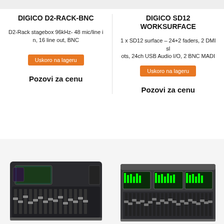DIGICO D2-RACK-BNC
D2-Rack stagebox 96kHz- 48 mic/line in, 16 line out, BNC
Uskoro na lageru
Pozovi za cenu
DIGICO SD12 WORKSURFACE
1 x SD12 surface – 24+2 faders, 2 DMI slots, 24ch USB Audio I/O, 2 BNC MADI
Uskoro na lageru
Pozovi za cenu
[Figure (photo): DiGiCo digital mixing console with faders and screens, left unit]
[Figure (photo): DiGiCo digital mixing console with faders and screens, right unit]